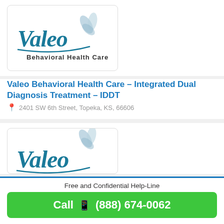[Figure (logo): Valeo Behavioral Health Care logo with teal script text and leaf graphic]
Valeo Behavioral Health Care – Integrated Dual Diagnosis Treatment – IDDT
2401 SW 6th Street, Topeka, KS, 66606
[Figure (logo): Valeo logo partially visible in second card]
Free and Confidential Help-Line
Call (888) 674-0062